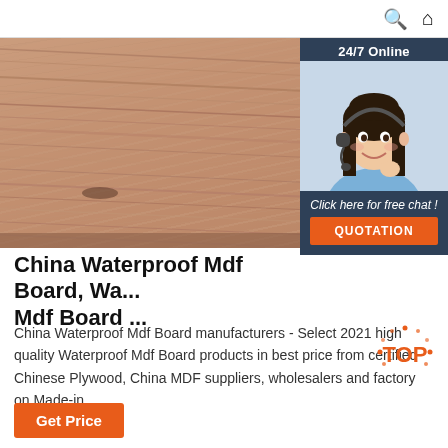🔍 🏠
[Figure (photo): Close-up photo of waterproof MDF / plywood board showing layered wood grain texture in warm brown/pink tones, with a chat widget overlay on the right showing a female customer service agent with headset and '24/7 Online' header, 'Click here for free chat!' text, and orange QUOTATION button]
China Waterproof Mdf Board, Wa... Mdf Board ...
China Waterproof Mdf Board manufacturers - Select 2021 high quality Waterproof Mdf Board products in best price from certified Chinese Plywood, China MDF suppliers, wholesalers and factory on Made-in ...
[Figure (logo): TOP badge with orange dots around text 'TOP' in orange letters]
Get Price